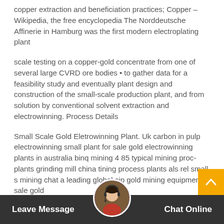copper extraction and beneficiation practices; Copper – Wikipedia, the free encyclopedia The Norddeutsche Affinerie in Hamburg was the first modern electroplating plant
scale testing on a copper-gold concentrate from one of several large CVRD ore bodies • to gather data for a feasibility study and eventually plant design and construction of the small-scale production plant, and from solution by conventional solvent extraction and electrowinning. Process Details
Small Scale Gold Eletrowinning Plant. Uk carbon in pulp electrowinning small plant for sale gold electrowinning plants in australia binq mining 4 85 typical mining proc plants grinding mill china t ining process plants als rel small s mining chat a leading global cip gold mining equipments sale gold
Leave Message
Chat Online